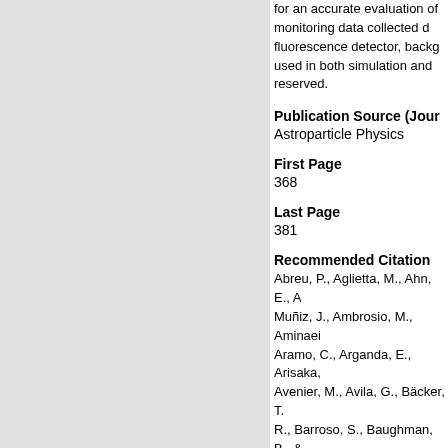for an accurate evaluation of monitoring data collected d... fluorescence detector, backg... used in both simulation and ... reserved.
Publication Source (Journ...
Astroparticle Physics
First Page
368
Last Page
381
Recommended Citation
Abreu, P., Aglietta, M., Ahn, E., A... Muñiz, J., Ambrosio, M., Aminaei... Aramo, C., Arganda, E., Arisaka,... Avenier, M., Avila, G., Bäcker, T... R., Barroso, S., Baughman, B., &... Pierre Auger Observatory. Astrop... https://doi.org/10.1016/j.astropa...